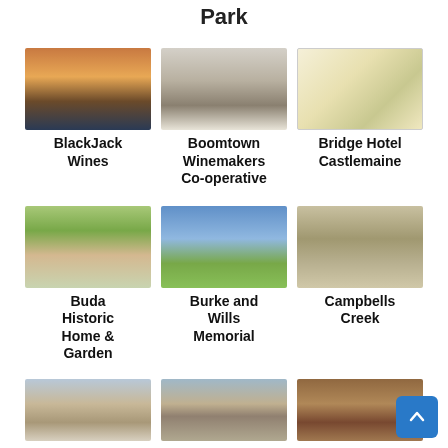Park
[Figure (photo): BlackJack Wines - landscape photo showing a water body at dusk/sunset]
BlackJack Wines
[Figure (photo): Boomtown Winemakers Co-operative - interior of a cafe or wine bar with bar seating]
Boomtown Winemakers Co-operative
[Figure (photo): Bridge Hotel Castlemaine - a menu card with text]
Bridge Hotel Castlemaine
[Figure (photo): Buda Historic Home & Garden - historic home with flowering garden]
Buda Historic Home & Garden
[Figure (photo): Burke and Wills Memorial - tall obelisk monument against blue sky]
Burke and Wills Memorial
[Figure (photo): Campbells Creek - bush walking track through trees]
Campbells Creek
[Figure (photo): Partially visible building exterior]
[Figure (photo): Partially visible town building or church]
[Figure (photo): Partially visible rocky ground or archaeological site]